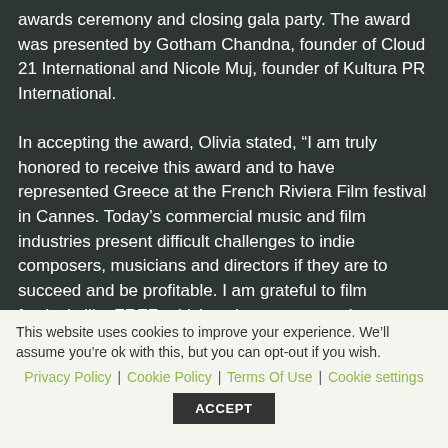awards ceremony and closing gala party. The award was presented by Gotham Chandna, founder of Cloud 21 International and Nicole Muj, founder of Kultura PR International.

In accepting the award, Olivia stated, “I am truly honored to receive this award and to have represented Greece at the French Riviera Film festival in Cannes. Today’s commercial music and film industries present difficult challenges to indie composers, musicians and directors if they are to succeed and be profitable. I am grateful to film festivals like FRFF, which welcome new works,
This website uses cookies to improve your experience. We’ll assume you’re ok with this, but you can opt-out if you wish.
Privacy Policy | Cookie Policy | Terms Of Use | Cookie settings
ACCEPT